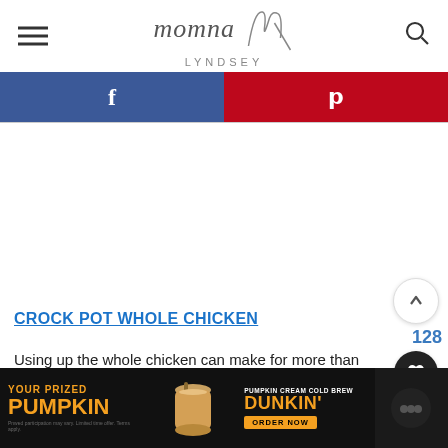momna fit LYNDSEY
[Figure (logo): momna fit Lyndsey logo with hamburger menu icon on left and search icon on right]
[Figure (infographic): Social share bar with Facebook (blue) and Pinterest (red) buttons]
CROCK POT WHOLE CHICKEN
Using up the whole chicken can make for more than one cheap keto meals! Use up the chicken breast, legs, thighs and wings.
[Figure (infographic): Sidebar with up arrow button, 128 count, heart/save button, 7.1K count, share button]
[Figure (infographic): Advertisement banner: YOUR PRIZED PUMPKIN - Dunkin Pumpkin Cream Cold Brew - ORDER NOW]